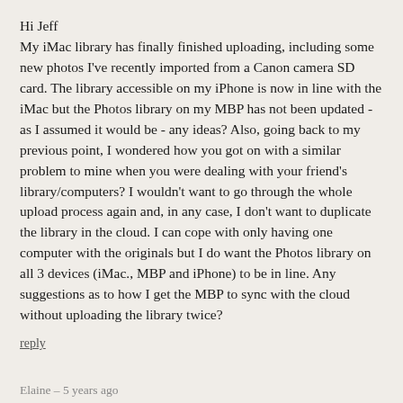Hi Jeff
My iMac library has finally finished uploading, including some new photos I've recently imported from a Canon camera SD card. The library accessible on my iPhone is now in line with the iMac but the Photos library on my MBP has not been updated - as I assumed it would be - any ideas? Also, going back to my previous point, I wondered how you got on with a similar problem to mine when you were dealing with your friend's library/computers? I wouldn't want to go through the whole upload process again and, in any case, I don't want to duplicate the library in the cloud. I can cope with only having one computer with the originals but I do want the Photos library on all 3 devices (iMac., MBP and iPhone) to be in line. Any suggestions as to how I get the MBP to sync with the cloud without uploading the library twice?
reply
Elaine – 5 years ago
Hi Jeff, I went through this process with my 41,000 photos but only 24,000 of them uploaded to the Cloud. I'd already made the switch from Aperture to Photo and suspect that some of my